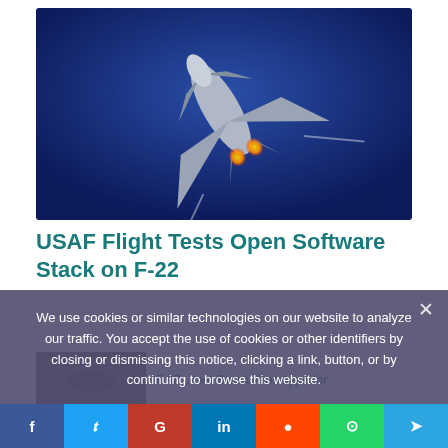[Figure (photo): Fighter jet (F-22 Raptor) photographed from above against a blue sky background, with afterburners firing]
USAF Flight Tests Open Software Stack on F-22
We use cookies or similar technologies on our website to analyze our traffic. You accept the use of cookies or other identifiers by closing or dismissing this notice, clicking a link, button, or by continuing to browse this website.
AGREE
RAF ... teel Block Prototype for
[Figure (photo): Partial thumbnail of a second article showing aircraft or military equipment]